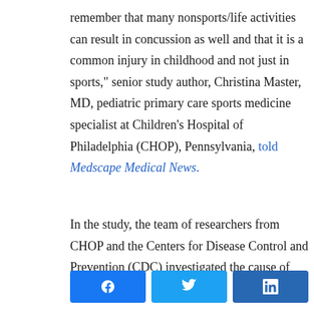remember that many nonsports/life activities can result in concussion as well and that it is a common injury in childhood and not just in sports," senior study author, Christina Master, MD, pediatric primary care sports medicine specialist at Children's Hospital of Philadelphia (CHOP), Pennsylvania, told Medscape Medical News.
In the study, the team of researchers from CHOP and the Centers for Disease Control and Prevention (CDC) investigated the cause of
[Figure (other): Social media sharing buttons: Facebook, Twitter, LinkedIn]